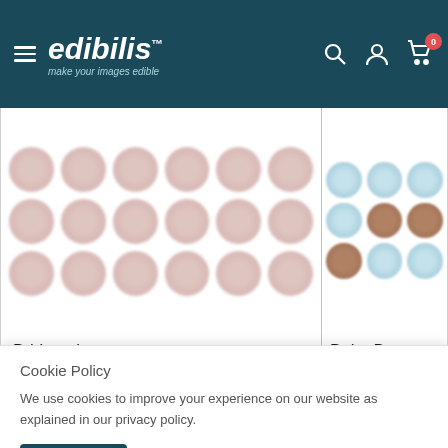edibilis™ — make your images edible
[Figure (photo): Grid of round edible image discs for 'Bride to be' product]
Bride to be
[Figure (photo): Grid of round edible image discs (blue and brown) for 'Baby Boy' product]
Baby Boy
Cookie Policy
We use cookies to improve your experience on our website as explained in our privacy policy.
Accept
Same day dispatch